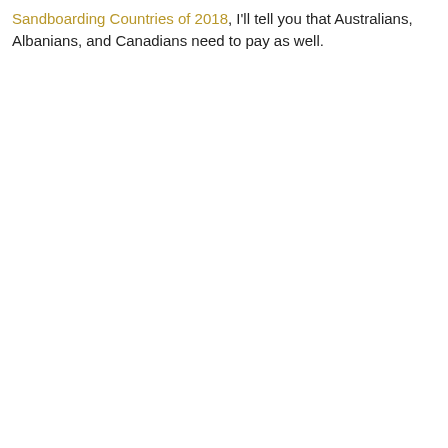Sandboarding Countries of 2018, I'll tell you that Australians, Albanians, and Canadians need to pay as well.